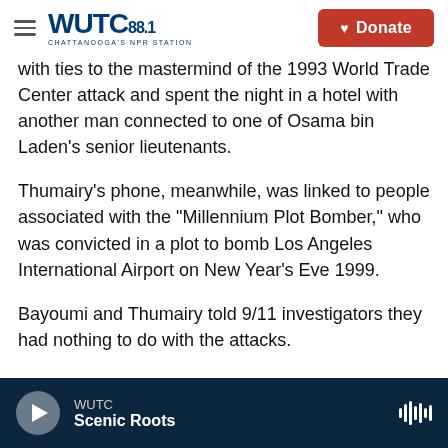WUTC 88.1 CHATTANOOGA'S NPR STATION — Donate
with ties to the mastermind of the 1993 World Trade Center attack and spent the night in a hotel with another man connected to one of Osama bin Laden's senior lieutenants.
Thumairy's phone, meanwhile, was linked to people associated with the "Millennium Plot Bomber," who was convicted in a plot to bomb Los Angeles International Airport on New Year's Eve 1999.
Bayoumi and Thumairy told 9/11 investigators they had nothing to do with the attacks.
WUTC — Scenic Roots